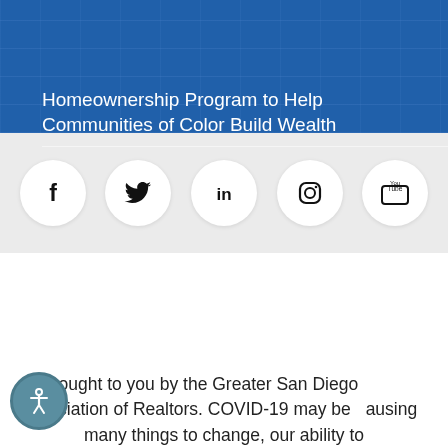Homeownership Program to Help Communities of Color Build Wealth
[Figure (infographic): Social media icon circles on gray background: Facebook, Twitter, LinkedIn, Instagram, YouTube]
Brought to you by the Greater San Diego Association of Realtors. COVID-19 may be causing many things to change, our ability to